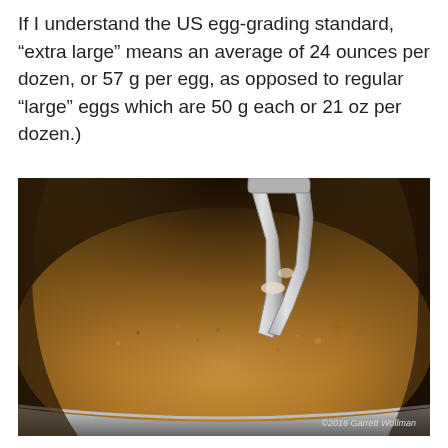If I understand the US egg-grading standard, “extra large” means an average of 24 ounces per dozen, or 57 g per egg, as opposed to regular “large” eggs which are 50 g each or 21 oz per dozen.)
[Figure (photo): Close-up photo of a mixing bowl with what appears to be a crumbly dry mixture (breadcrumbs or cookie crumbs) being mixed with a stand mixer hook/paddle attachment. Photo credited to ©2016 Garrett Wollman.]